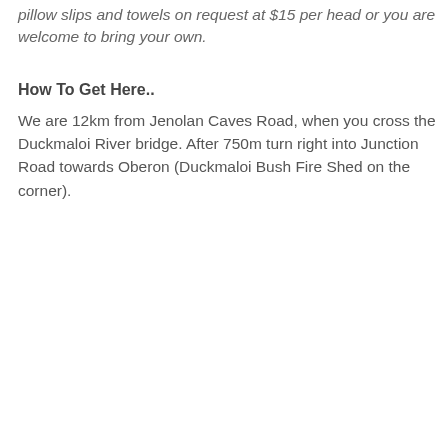pillow slips and towels on request at $15 per head or you are welcome to bring your own.
How To Get Here..
We are 12km from Jenolan Caves Road, when you cross the Duckmaloi River bridge. After 750m turn right into Junction Road towards Oberon (Duckmaloi Bush Fire Shed on the corner).